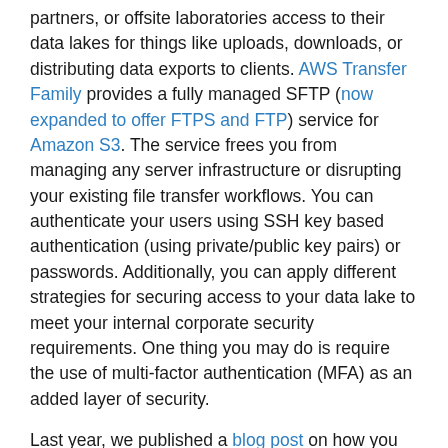partners, or offsite laboratories access to their data lakes for things like uploads, downloads, or distributing data exports to clients. AWS Transfer Family provides a fully managed SFTP (now expanded to offer FTPS and FTP) service for Amazon S3. The service frees you from managing any server infrastructure or disrupting your existing file transfer workflows. You can authenticate your users using SSH key based authentication (using private/public key pairs) or passwords. Additionally, you can apply different strategies for securing access to your data lake to meet your internal corporate security requirements. One thing you may do is require the use of multi-factor authentication (MFA) as an added layer of security.
Last year, we published a blog post on how you can use Okta as an identity provider for AWS Transfer for SFTP. Okta provides secure identity management with single sign-on (SSO), MFA, and more. In this follow up post, we outline the steps required so you can authenticate your SFTP users with MFA using the same Okta integration. The solution works with existing SFTP clients such as FileZilla, CyberDuck, and others.